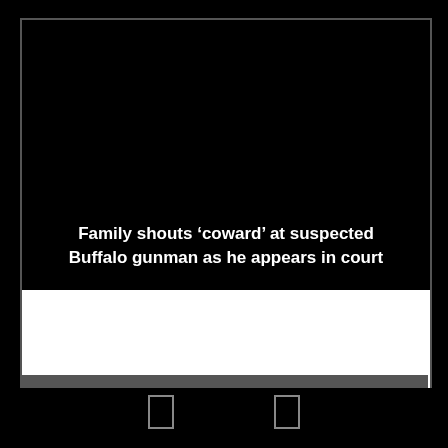[Figure (screenshot): Dark video thumbnail with white text overlay showing news headline about Buffalo gunman court appearance]
Family shouts ‘coward’ at suspected Buffalo gunman as he appears in court